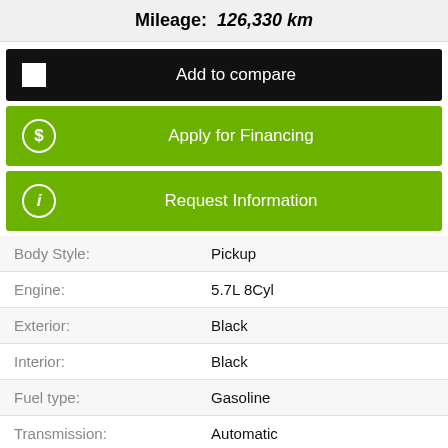Mileage: 126,330 km
Add to compare
Apply for Financing
Request Information
| Attribute | Value |
| --- | --- |
| Body Style: | Pickup |
| Engine: | 5.7L 8Cyl |
| Exterior: | Black |
| Interior: | Black |
| Fuel type: | Gasoline |
| Transmission: | Automatic |
| Drivetrain: | 4x4 |
| Stock #: | 22079A |